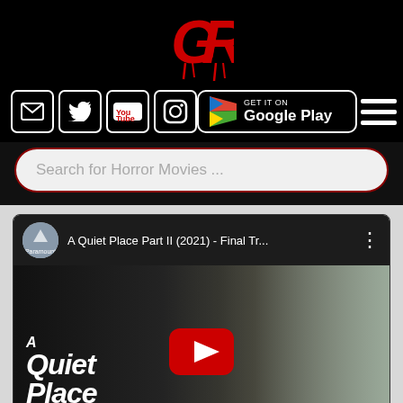[Figure (logo): GB horror website logo in red on black background]
[Figure (screenshot): Navigation bar with social media icons (email, Twitter, YouTube, Instagram), Google Play button, and hamburger menu]
Search for Horror Movies ...
[Figure (screenshot): YouTube video embed showing A Quiet Place Part II (2021) - Final Tr... with Paramount Pictures avatar, video title bar, and movie thumbnail showing a woman's face and movie title overlay with YouTube play button]